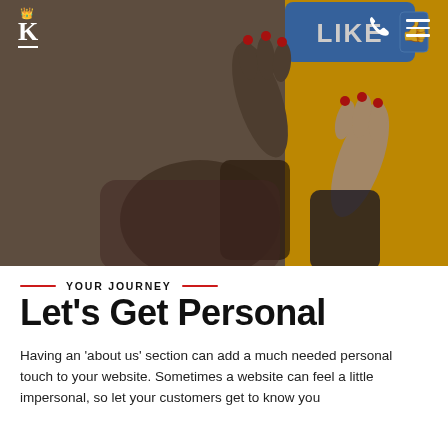K [logo with crown] | phone icon | hamburger menu
[Figure (photo): Two people exchanging a blue 'LIKE' sign with a thumbs up icon; hands with red nails visible, yellow background on right side. Social media themed marketing photo.]
YOUR JOURNEY
Let's Get Personal
Having an 'about us' section can add a much needed personal touch to your website. Sometimes a website can feel a little impersonal, so let your customers get to know you